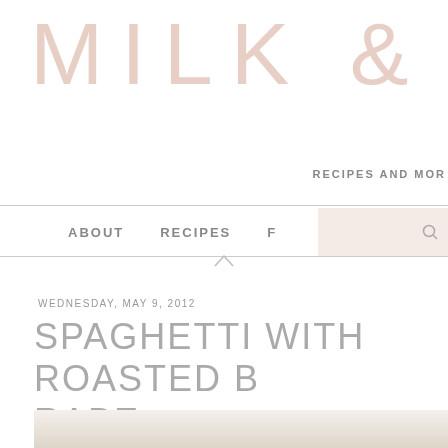MILK &
RECIPES AND MORE
ABOUT   RECIPES   F
WEDNESDAY, MAY 9, 2012
SPAGHETTI WITH ROASTED B RABE
[Figure (photo): Partial food photo showing spaghetti dish at bottom of page]